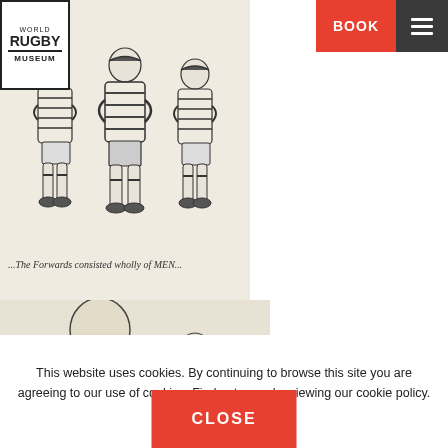[Figure (logo): World Rugby Museum logo — bordered box with WORLD, RUGBY, MUSEUM text]
d Arthur Young.
[Figure (illustration): Vintage cartoon illustration of rugby forwards — group of muscular men in striped jerseys with caption '...The Forwards consisted wholly of MEN...']
...The Forwards consisted wholly of MEN...
This website uses cookies. By continuing to browse this site you are agreeing to our use of cookies. Find out more by viewing our cookie policy. Cookie Policy
CLOSE